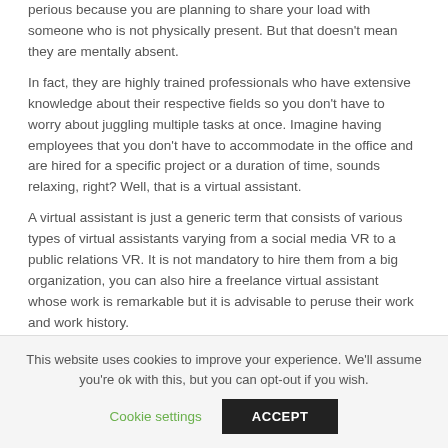perious because you are planning to share your load with someone who is not physically present. But that doesn't mean they are mentally absent.
In fact, they are highly trained professionals who have extensive knowledge about their respective fields so you don't have to worry about juggling multiple tasks at once. Imagine having employees that you don't have to accommodate in the office and are hired for a specific project or a duration of time, sounds relaxing, right? Well, that is a virtual assistant.
A virtual assistant is just a generic term that consists of various types of virtual assistants varying from a social media VR to a public relations VR. It is not mandatory to hire them from a big organization, you can also hire a freelance virtual assistant whose work is remarkable but it is advisable to peruse their work and work history.
This website uses cookies to improve your experience. We'll assume you're ok with this, but you can opt-out if you wish.
Cookie settings
ACCEPT